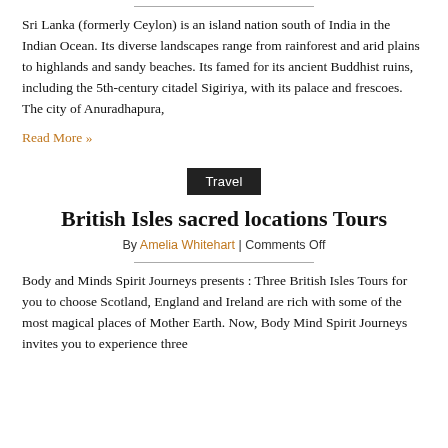Sri Lanka (formerly Ceylon) is an island nation south of India in the Indian Ocean. Its diverse landscapes range from rainforest and arid plains to highlands and sandy beaches. Its famed for its ancient Buddhist ruins, including the 5th-century citadel Sigiriya, with its palace and frescoes. The city of Anuradhapura,
Read More »
Travel
British Isles sacred locations Tours
By Amelia Whitehart | Comments Off
Body and Minds Spirit Journeys presents : Three British Isles Tours for you to choose Scotland, England and Ireland are rich with some of the most magical places of Mother Earth. Now, Body Mind Spirit Journeys invites you to experience three